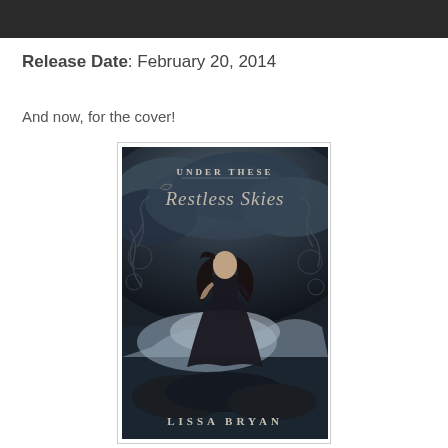[Figure (photo): Top portion of a cropped photo, dark background with partial figure visible]
Release Date: February 20, 2014
And now, for the cover!
[Figure (illustration): Book cover for 'Under These Restless Skies' by Lissa Bryan. Dark gothic cover featuring a woman in a black dress standing on rocks with crashing waves and dramatic stormy skies, with ornate swirl decorations.]